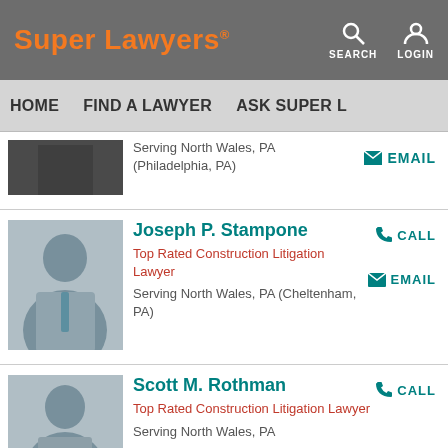Super Lawyers®
HOME   FIND A LAWYER   ASK SUPER L...
Serving North Wales, PA (Philadelphia, PA)
EMAIL
Joseph P. Stampone
Top Rated Construction Litigation Lawyer
Serving North Wales, PA (Cheltenham, PA)
CALL
EMAIL
Scott M. Rothman
Top Rated Construction Litigation Lawyer
Serving North Wales, PA
CALL